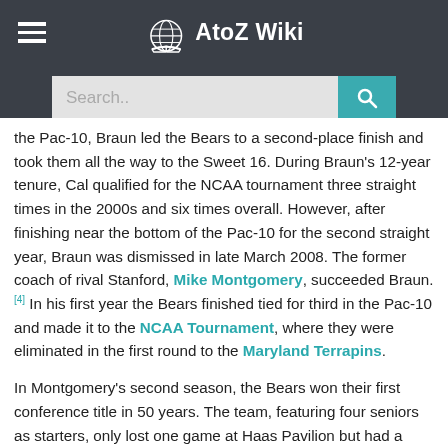AtoZ Wiki
the Pac-10, Braun led the Bears to a second-place finish and took them all the way to the Sweet 16. During Braun's 12-year tenure, Cal qualified for the NCAA tournament three straight times in the 2000s and six times overall. However, after finishing near the bottom of the Pac-10 for the second straight year, Braun was dismissed in late March 2008. The former coach of rival Stanford, Mike Montgomery, succeeded Braun. [4] In his first year the Bears finished tied for third in the Pac-10 and made it to the NCAA Tournament, where they were eliminated in the first round to the Maryland Terrapins.
In Montgomery's second season, the Bears won their first conference title in 50 years. The team, featuring four seniors as starters, only lost one game at Haas Pavilion but had a rough non-conference schedule featuring losses to elite teams such as Kansas, Ohio State, and Syracuse, which quickly knocked them out of the national rankings after being ranked #13 in the